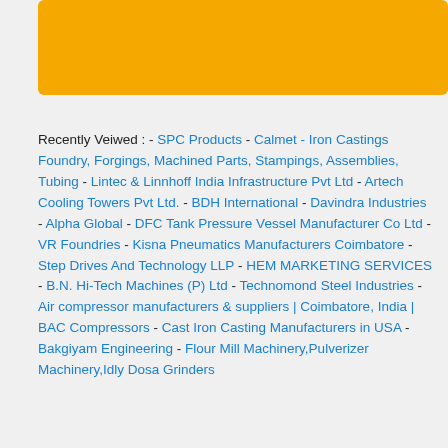[Figure (other): Yellow/gold rectangular banner at the top of the page]
Recently Veiwed : - SPC Products - Calmet - Iron Castings Foundry, Forgings, Machined Parts, Stampings, Assemblies, Tubing - Lintec & Linnhoff India Infrastructure Pvt Ltd - Artech Cooling Towers Pvt Ltd. - BDH International - Davindra Industries - Alpha Global - DFC Tank Pressure Vessel Manufacturer Co Ltd - VR Foundries - Kisna Pneumatics Manufacturers Coimbatore - Step Drives And Technology LLP - HEM MARKETING SERVICES - B.N. Hi-Tech Machines (P) Ltd - Technomond Steel Industries - Air compressor manufacturers & suppliers | Coimbatore, India | BAC Compressors - Cast Iron Casting Manufacturers in USA - Bakgiyam Engineering - Flour Mill Machinery,Pulverizer Machinery,Idly Dosa Grinders